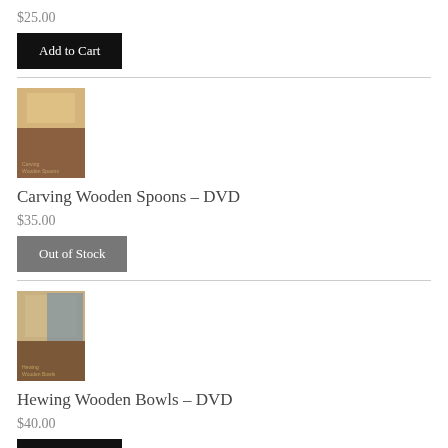$25.00
Add to Cart
Carving Wooden Spoons – DVD
$35.00
Out of Stock
[Figure (photo): DVD cover for Carving Wooden Spoons]
[Figure (photo): DVD cover for Hewing Wooden Bowls]
Hewing Wooden Bowls – DVD
$40.00
Add to Cart